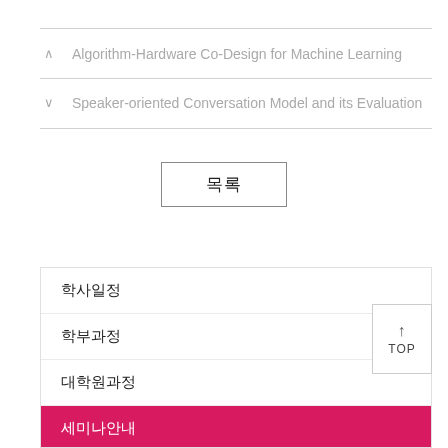Algorithm-Hardware Co-Design for Machine Learning
Speaker-oriented Conversation Model and its Evaluation
목록
학사일정
학부과정
대학원과정
세미나안내
클러스터 이용 신청